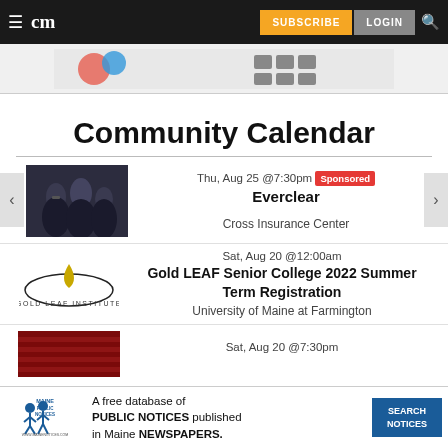cm | SUBSCRIBE | LOGIN
[Figure (screenshot): Advertisement banner with game/app imagery]
Community Calendar
[Figure (photo): Photo of the band Everclear (musicians)]
Thu, Aug 25 @7:30pm Sponsored
Everclear
Cross Insurance Center
[Figure (logo): Gold LEAF Institute logo]
Sat, Aug 20 @12:00am
Gold LEAF Senior College 2022 Summer Term Registration
University of Maine at Farmington
[Figure (photo): Partial event thumbnail (red/dark)]
Sat, Aug 20 @7:30pm
[Figure (infographic): Maine Public Notices ad: A free database of PUBLIC NOTICES published in Maine NEWSPAPERS. SEARCH NOTICES]